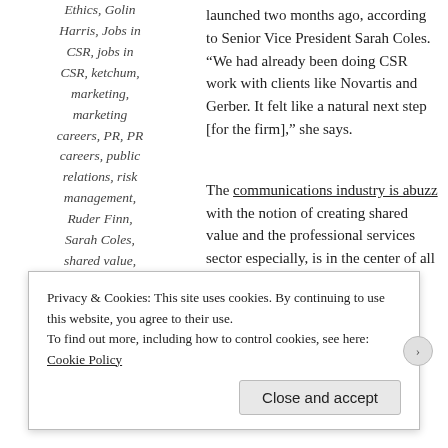Ethics, Golin Harris, Jobs in CSR, jobs in CSR, ketchum, marketing, marketing careers, PR, PR careers, public relations, risk management, Ruder Finn, Sarah Coles, shared value, social responsibility, Social
launched two months ago, according to Senior Vice President Sarah Coles. “We had already been doing CSR work with clients like Novartis and Gerber. It felt like a natural next step [for the firm],” she says.
The communications industry is abuzz with the notion of creating shared value and the professional services sector especially, is in the center of all the activity.
Privacy & Cookies: This site uses cookies. By continuing to use this website, you agree to their use.
To find out more, including how to control cookies, see here: Cookie Policy